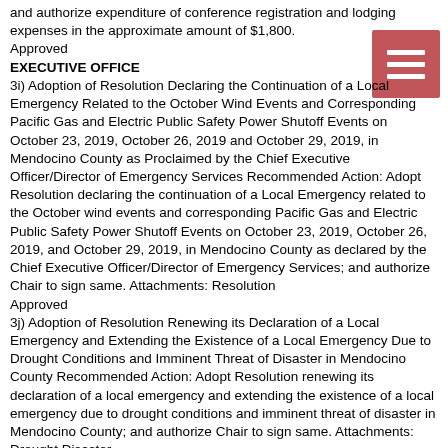and authorize expenditure of conference registration and lodging expenses in the approximate amount of $1,800.
Approved
EXECUTIVE OFFICE
3i) Adoption of Resolution Declaring the Continuation of a Local Emergency Related to the October Wind Events and Corresponding Pacific Gas and Electric Public Safety Power Shutoff Events on October 23, 2019, October 26, 2019 and October 29, 2019, in Mendocino County as Proclaimed by the Chief Executive Officer/Director of Emergency Services Recommended Action: Adopt Resolution declaring the continuation of a Local Emergency related to the October wind events and corresponding Pacific Gas and Electric Public Safety Power Shutoff Events on October 23, 2019, October 26, 2019, and October 29, 2019, in Mendocino County as declared by the Chief Executive Officer/Director of Emergency Services; and authorize Chair to sign same. Attachments: Resolution
Approved
3j) Adoption of Resolution Renewing its Declaration of a Local Emergency and Extending the Existence of a Local Emergency Due to Drought Conditions and Imminent Threat of Disaster in Mendocino County Recommended Action: Adopt Resolution renewing its declaration of a local emergency and extending the existence of a local emergency due to drought conditions and imminent threat of disaster in Mendocino County; and authorize Chair to sign same. Attachments: Drought Disaster
Approved
3k) Adoption of Resolution Declaring the Continuation of a Local Emergency Related to the Hopkins Fire as Proclaimed by the Chief Executive Officer/Director of Emergency Services and Ratifying the